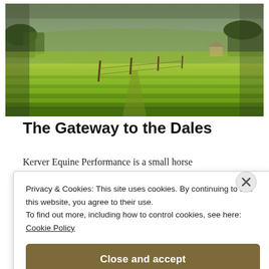[Figure (photo): Landscape photo of green grassy fields with fence posts, trees in the background, and an overcast sky. Wide panoramic crop of countryside.]
The Gateway to the Dales
Kerver Equine Performance is a small horse
Privacy & Cookies: This site uses cookies. By continuing to use this website, you agree to their use.
To find out more, including how to control cookies, see here:
Cookie Policy

Close and accept